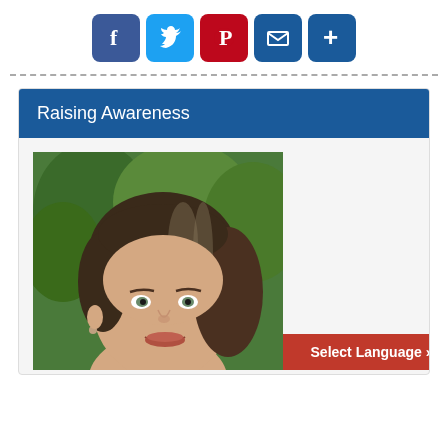[Figure (other): Social media sharing icons: Facebook (blue), Twitter (blue), Pinterest (red), Email (blue), More/Plus (blue)]
[Figure (photo): Close-up photo of a woman with brown hair, smiling, outdoors with green blurred background]
Raising Awareness
Select Language »